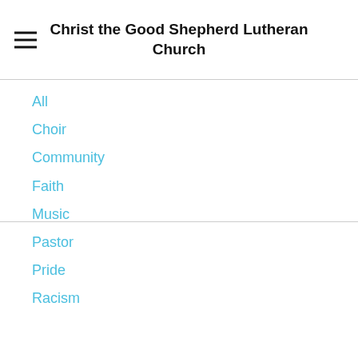Christ the Good Shepherd Lutheran Church
All
Choir
Community
Faith
Music
Pastor
Pride
Racism